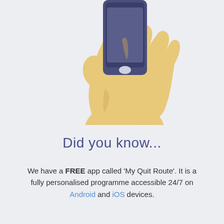[Figure (illustration): Flat illustration of a hand holding a smartphone, shown from behind. The hand is a warm tan/yellow color and the phone is dark blue-grey with a white oval home button.]
Did you know...
We have a FREE app called 'My Quit Route'. It is a fully personalised programme accessible 24/7 on Android and iOS devices.